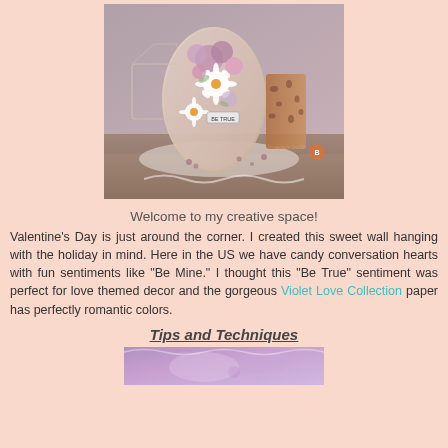[Figure (photo): A floral craft wall hanging decorated with pink, purple and white flowers, daisy blooms, and a tag reading 'BE TRUE', displayed on a wooden surface with decorative items. Watermark reads 'tracy belle' with a logo.]
Welcome to my creative space!
Valentine's Day is just around the corner. I created this sweet wall hanging with the holiday in mind. Here in the US we have candy conversation hearts with fun sentiments like "Be Mine." I thought this "Be True" sentiment was perfect for love themed decor and the gorgeous Violet Love Collection paper has perfectly romantic colors.
Tips and Techniques
[Figure (photo): Bottom partial photo of a purple/violet craft project, partially visible at the bottom of the page.]